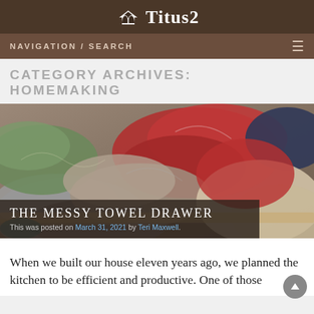Titus2
NAVIGATION / SEARCH
CATEGORY ARCHIVES: HOMEMAKING
[Figure (photo): A messy drawer filled with tangled, colorful towels and cloths in various colors including red, green, gray, and beige.]
THE MESSY TOWEL DRAWER
This was posted on March 31, 2021 by Teri Maxwell.
When we built our house eleven years ago, we planned the kitchen to be efficient and productive. One of those